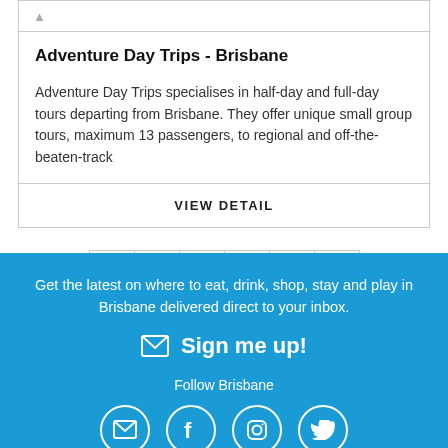Adventure Day Trips - Brisbane
Adventure Day Trips specialises in half-day and full-day tours departing from Brisbane. They offer unique small group tours, maximum 13 passengers, to regional and off-the-beaten-track
VIEW DETAIL
1 2 3 4 5 >
Get the latest on where to eat, drink, shop, stay and play in Brisbane delivered direct to your inbox.
✉ Sign me up!
Follow Brisbane
[Figure (illustration): Social media icons: email, Facebook, Instagram, Twitter in white circles on blue background]